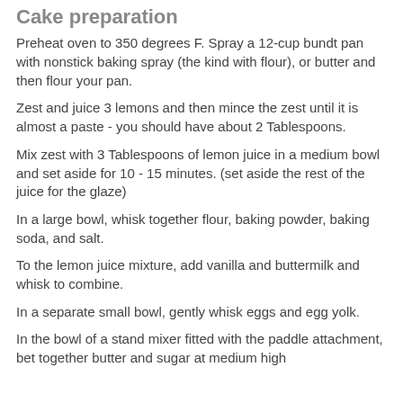Cake preparation
Preheat oven to 350 degrees F. Spray a 12-cup bundt pan with nonstick baking spray (the kind with flour), or butter and then flour your pan.
Zest and juice 3 lemons and then mince the zest until it is almost a paste - you should have about 2 Tablespoons.
Mix zest with 3 Tablespoons of lemon juice in a medium bowl and set aside for 10 - 15 minutes. (set aside the rest of the juice for the glaze)
In a large bowl, whisk together flour, baking powder, baking soda, and salt.
To the lemon juice mixture, add vanilla and buttermilk and whisk to combine.
In a separate small bowl, gently whisk eggs and egg yolk.
In the bowl of a stand mixer fitted with the paddle attachment, bet together butter and sugar at medium high speed until light and fluffy, about 3 minutes, scraping down…